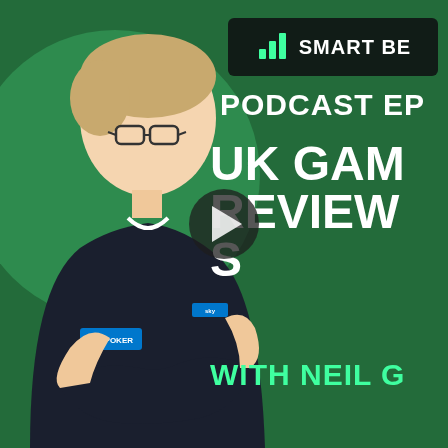[Figure (screenshot): Video thumbnail for a Smart Betting podcast episode about UK Gambling Review, featuring a man in a Sky Poker shirt on a green background. Partially cropped on right side. Shows logo, episode text, title text in white, and 'WITH NEIL G' in teal/green. Play button overlay in center.]